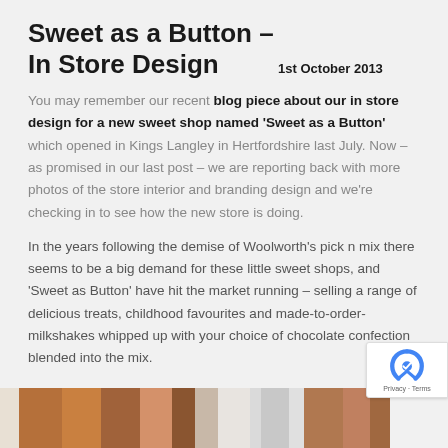Sweet as a Button – In Store Design
1st October 2013
You may remember our recent blog piece about our in store design for a new sweet shop named 'Sweet as a Button' which opened in Kings Langley in Hertfordshire last July. Now – as promised in our last post – we are reporting back with more photos of the store interior and branding design and we're checking in to see how the new store is doing.
In the years following the demise of Woolworth's pick n mix there seems to be a big demand for these little sweet shops, and 'Sweet as Button' have hit the market running – selling a range of delicious treats, childhood favourites and made-to-order-milkshakes whipped up with your choice of chocolate confection blended into the mix.
[Figure (photo): Exterior photo of a brick building showing the Sweet as a Button shop front, partially cropped at the bottom of the page]